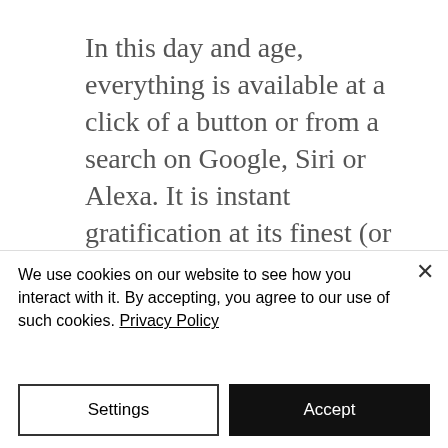In this day and age, everything is available at a click of a button or from a search on Google, Siri or Alexa. It is instant gratification at its finest (or worst!). We are all guilty of it. We reminisce about how good it was when local towns had local stores and then the next day place an order on Amazon prime. It doesn't really matter if it is right or wrong, we just have to accept that this is the future
We use cookies on our website to see how you interact with it. By accepting, you agree to our use of such cookies. Privacy Policy